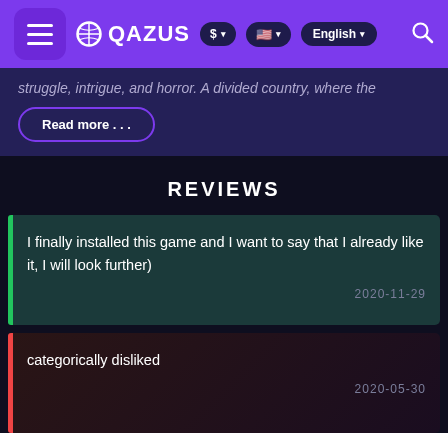QAZUS $ English
struggle, intrigue, and horror. A divided country, where the
Read more . . .
REVIEWS
I finally installed this game and I want to say that I already like it, I will look further)
2020-11-29
categorically disliked
2020-05-30